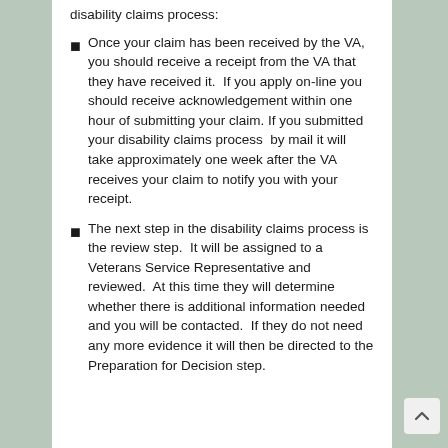disability claims process:
Once your claim has been received by the VA, you should receive a receipt from the VA that they have received it.  If you apply on-line you should receive acknowledgement within one hour of submitting your claim. If you submitted your disability claims process  by mail it will take approximately one week after the VA receives your claim to notify you with your receipt.
The next step in the disability claims process is the review step.  It will be assigned to a Veterans Service Representative and reviewed.  At this time they will determine whether there is additional information needed and you will be contacted.  If they do not need any more evidence it will then be directed to the Preparation for Decision step.